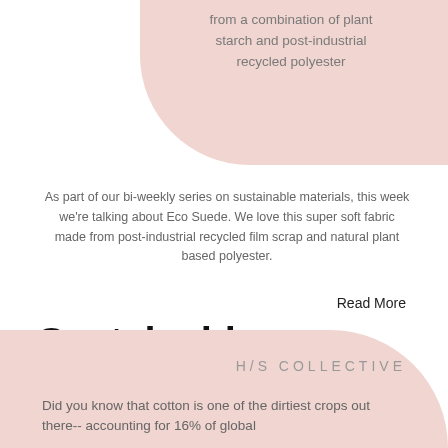from a combination of plant starch and post-industrial recycled polyester
As part of our bi-weekly series on sustainable materials, this week we’re talking about Eco Suede. We love this super soft fabric made from post-industrial recycled film scrap and natural plant based polyester.
Read More
Sustainable Glossary: Organic Cotton
Posted by RD on 12/4/2019 to Environment
H/S COLLECTIVE
Did you know that cotton is one of the dirtiest crops out there-- accounting for 16% of global